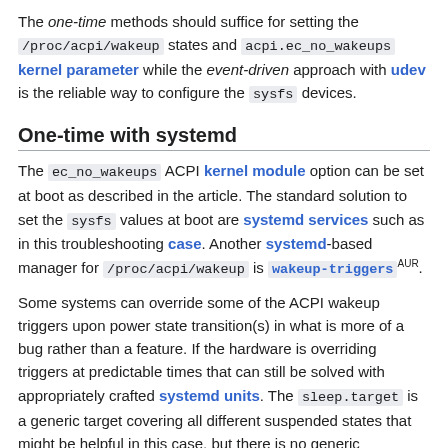The one-time methods should suffice for setting the /proc/acpi/wakeup states and acpi.ec_no_wakeups kernel parameter while the event-driven approach with udev is the reliable way to configure the sysfs devices.
One-time with systemd
The ec_no_wakeups ACPI kernel module option can be set at boot as described in the article. The standard solution to set the sysfs values at boot are systemd services such as in this troubleshooting case. Another systemd-based manager for /proc/acpi/wakeup is wakeup-triggersAUR.
Some systems can override some of the ACPI wakeup triggers upon power state transition(s) in what is more of a bug rather than a feature. If the hardware is overriding triggers at predictable times that can still be solved with appropriately crafted systemd units. The sleep.target is a generic target covering all different suspended states that might be helpful in this case, but there is no generic wakeup.target [2].